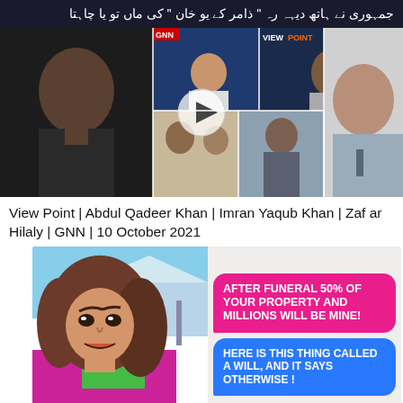جمہوری نے ہاتھ دیہہ رہ '' ذامر کے یو خان '' کی ماں تو یا چاہتا
[Figure (screenshot): Video thumbnail collage showing Pakistani news show 'View Point' on GNN with multiple panelists including Abdul Qadeer Khan, Imran Yaqub Khan, and Zafar Hilaly]
View Point | Abdul Qadeer Khan | Imran Yaqub Khan | Zafar Hilaly | GNN | 10 October 2021
[Figure (photo): Meme image showing a woman looking angry on the left, with two chat bubbles on the right. Pink bubble reads: 'AFTER FUNERAL 50% OF YOUR PROPERTY AND MILLIONS WILL BE MINE!' Blue bubble replies: 'HERE IS THIS THING CALLED A WILL, AND IT SAYS OTHERWISE!']